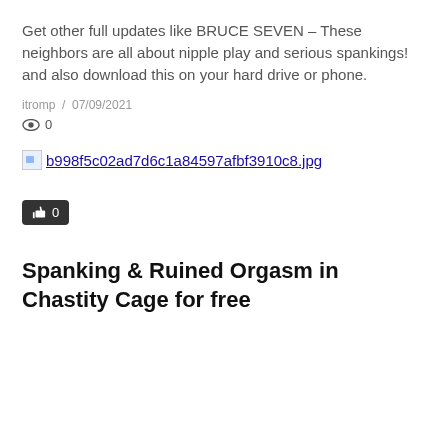Get other full updates like BRUCE SEVEN – These neighbors are all about nipple play and serious spankings! and also download this on your hard drive or phone.
itromp  /  07/09/2021
👁 0
[Figure (photo): Broken image placeholder with filename link: b998f5c02ad7d6c1a84597afbf3910c8.jpg]
👍 0
Spanking & Ruined Orgasm in Chastity Cage for free